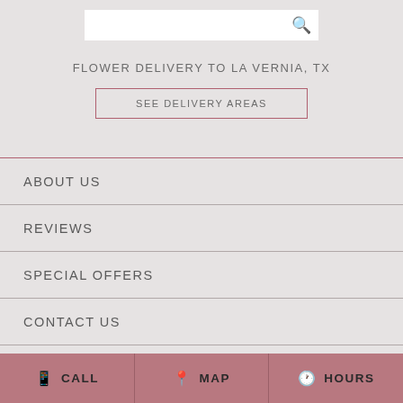[Figure (other): Search bar with magnifying glass icon on grey background]
FLOWER DELIVERY TO LA VERNIA, TX
SEE DELIVERY AREAS
ABOUT US
REVIEWS
SPECIAL OFFERS
CONTACT US
SITE MAP
CALL   MAP   HOURS